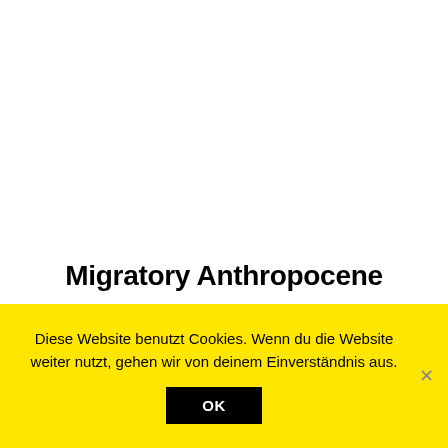Migratory Anthropocene
Diese Website benutzt Cookies. Wenn du die Website weiter nutzt, gehen wir von deinem Einverständnis aus.
OK